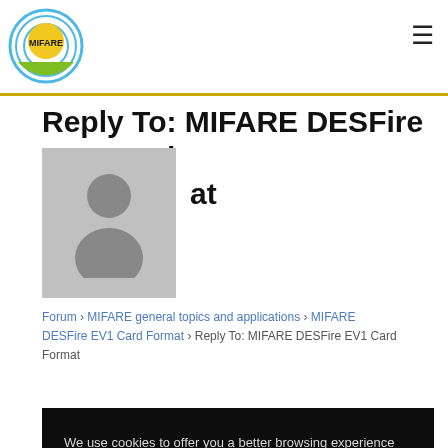MIFARE
Reply To: MIFARE DESFire EV1 Card Format
[Figure (illustration): Grey silhouette avatar of a person]
Forum › MIFARE general topics and applications › MIFARE DESFire EV1 Card Format › Reply To: MIFARE DESFire EV1 Card Format
We use cookies to offer you a better browsing experience and analyze site traffic. Learn more about how we use cookies and how you can control them by clicking on Cookies Settings. For more Information visit our Privacy Policy
Cookies Settings    Allow All
+0 | -0